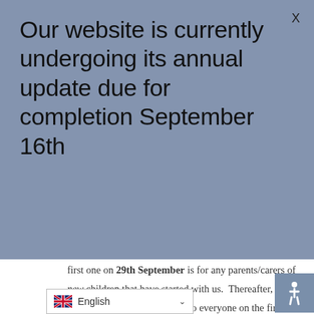Our website is currently undergoing its annual update due for completion September 16th
first one on 29th September is for any parents/carers of new children that have started with us. Thereafter, our coffee mornings will be open to everyone on the first Wednesday of each month, so for this term, that will be 6th October, 3rd November and 1st December between
[Figure (other): Accessibility wheelchair icon button]
English (language selector dropdown with UK flag)